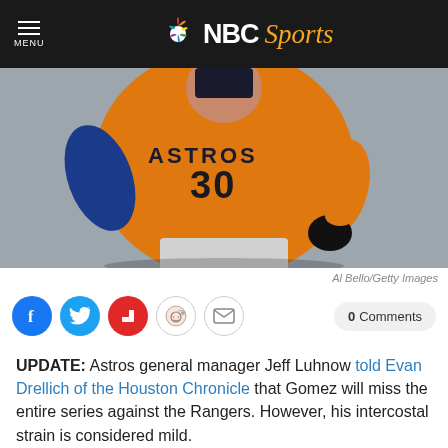NBC Sports
[Figure (photo): Baseball player wearing Houston Astros orange jersey number 30 running, action shot]
Al Bello/Getty Images
[Figure (infographic): Social sharing buttons: Facebook, Twitter, Flipboard, Reddit, Email, and 0 Comments button]
UPDATE: Astros general manager Jeff Luhnow told Evan Drellich of the Houston Chronicle that Gomez will miss the entire series against the Rangers. However, his intercostal strain is considered mild.
7:10 p.m. ET: Brian McTaggart of MLB.com reports that